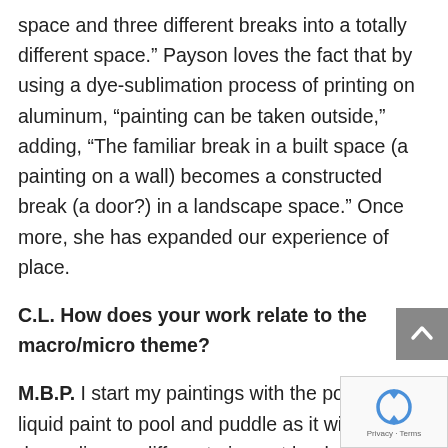space and three different breaks into a totally different space.” Payson loves the fact that by using a dye-sublimation process of printing on aluminum, “painting can be taken outside,” adding, “The familiar break in a built space (a painting on a wall) becomes a constructed break (a door?) in a landscape space.” Once more, she has expanded our experience of place.
C.L. How does your work relate to the macro/micro theme?
M.B.P. I start my paintings with the potent of liquid paint to pool and puddle as it will depending on different pigment loads and